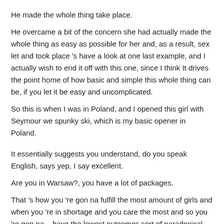He made the whole thing take place.
He overcame a bit of the concern she had actually made the whole thing as easy as possible for her and, as a result, sex let and took place 's have a look at one last example, and I actually wish to end it off with this one, since I think It drives the point home of how basic and simple this whole thing can be, if you let it be easy and uncomplicated.
So this is when I was in Poland, and I opened this girl with Seymour we spunky ski, which is my basic opener in Poland.
It essentially suggests you understand, do you speak English, says yep, I say excellent.
Are you in Warsaw?, you have a lot of packages.
That 's how you 're gon na fulfill the most amount of girls and when you 're in shortage and you care the most and so you 're gon na – have the lowest outcomes sort of paradoxical.
She states I'm for killing, there is away from you, of course, I'm